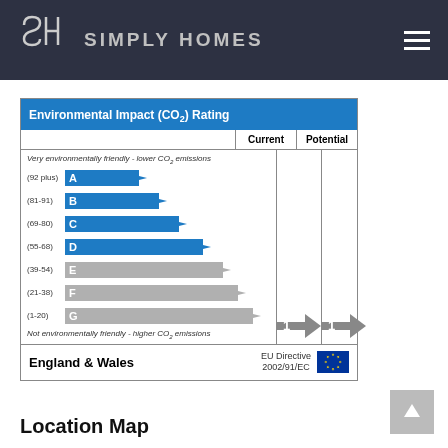Simply Homes
[Figure (infographic): Environmental Impact (CO2) Rating chart showing bands A through G with current and potential ratings both at 1 (G band). Bars are blue for A-D bands and grey for E-G bands. England & Wales label with EU Directive 2002/91/EC and EU flag shown at bottom.]
Location Map